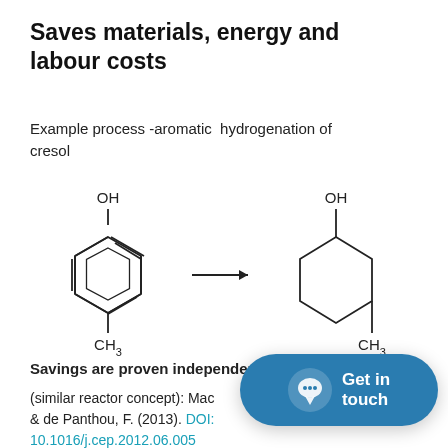Saves materials, energy and labour costs
Example process -aromatic  hydrogenation of cresol
[Figure (illustration): Chemical reaction scheme showing aromatic hydrogenation of cresol (meta-cresol with benzene ring and OH and CH3 groups) converting via an arrow to methylcyclohexanol (cyclohexane ring with OH and CH3 groups)]
Savings are proven independently
(similar reactor concept): Mac[...] & de Panthou, F. (2013). DOI: 10.1016/j.cep.2012.06.005